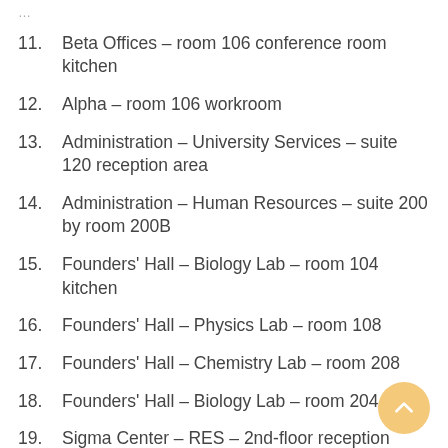11. Beta Offices – room 106 conference room kitchen
12. Alpha – room 106 workroom
13. Administration – University Services – suite 120 reception area
14. Administration – Human Resources – suite 200 by room 200B
15. Founders' Hall – Biology Lab – room 104 kitchen
16. Founders' Hall – Physics Lab – room 108
17. Founders' Hall – Chemistry Lab – room 208
18. Founders' Hall – Biology Lab – room 204
19. Sigma Center – RES – 2nd-floor reception
20. Facility Services (MA building) – office area